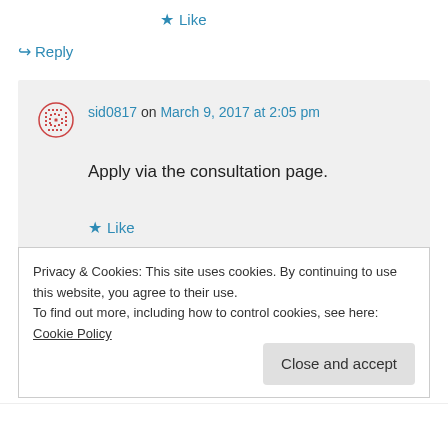★ Like
↪ Reply
sid0817 on March 9, 2017 at 2:05 pm
Apply via the consultation page.
★ Like
↪ Reply
Privacy & Cookies: This site uses cookies. By continuing to use this website, you agree to their use.
To find out more, including how to control cookies, see here: Cookie Policy
Close and accept